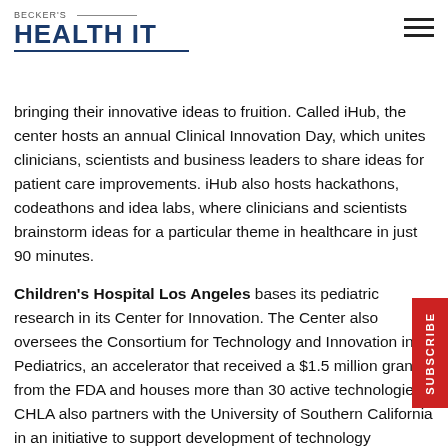BECKER'S HEALTH IT
bringing their innovative ideas to fruition. Called iHub, the center hosts an annual Clinical Innovation Day, which unites clinicians, scientists and business leaders to share ideas for patient care improvements. iHub also hosts hackathons, codeathons and idea labs, where clinicians and scientists brainstorm ideas for a particular theme in healthcare in just 90 minutes.
Children's Hospital Los Angeles bases its pediatric research in its Center for Innovation. The Center also oversees the Consortium for Technology and Innovation in Pediatrics, an accelerator that received a $1.5 million grant from the FDA and houses more than 30 active technologies. CHLA also partners with the University of Southern California in an initiative to support development of technology solutions for pediatric patients.